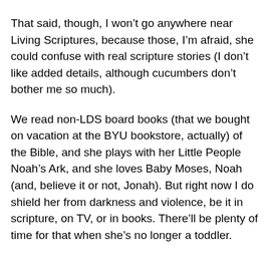convey a message that could apply to my 2yo within the next few years.
That said, though, I won't go anywhere near Living Scriptures, because those, I'm afraid, she could confuse with real scripture stories (I don't like added details, although cucumbers don't bother me so much).
We read non-LDS board books (that we bought on vacation at the BYU bookstore, actually) of the Bible, and she plays with her Little People Noah's Ark, and she loves Baby Moses, Noah (and, believe it or not, Jonah). But right now I do shield her from darkness and violence, be it in scripture, on TV, or in books. There'll be plenty of time for that when she's no longer a toddler.